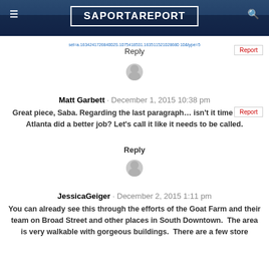SaportaReport
set=a.163424172684002S.1075418531.163511521028680 10&type=5
Reply
[Figure (illustration): Gray circular user avatar icon]
Matt Garbett · December 1, 2015 10:38 pm
Great piece, Saba. Regarding the last paragraph… isn't it time Invest Atlanta did a better job? Let's call it like it needs to be called.
Reply
[Figure (illustration): Gray circular user avatar icon]
JessicaGeiger · December 2, 2015 1:11 pm
You can already see this through the efforts of the Goat Farm and their team on Broad Street and other places in South Downtown.  The area is very walkable with gorgeous buildings.  There are a few store